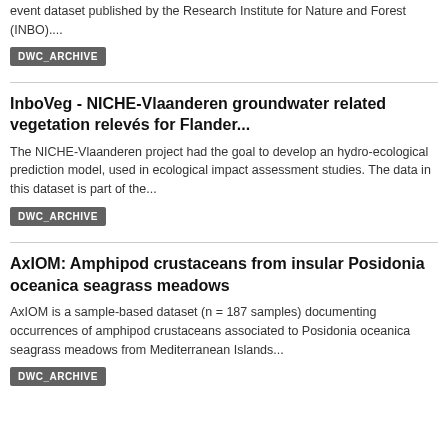event dataset published by the Research Institute for Nature and Forest (INBO)....
DWC_ARCHIVE
InboVeg - NICHE-Vlaanderen groundwater related vegetation relevés for Flander...
The NICHE-Vlaanderen project had the goal to develop an hydro-ecological prediction model, used in ecological impact assessment studies. The data in this dataset is part of the...
DWC_ARCHIVE
AxIOM: Amphipod crustaceans from insular Posidonia oceanica seagrass meadows
AxIOM is a sample-based dataset (n = 187 samples) documenting occurrences of amphipod crustaceans associated to Posidonia oceanica seagrass meadows from Mediterranean Islands...
DWC_ARCHIVE